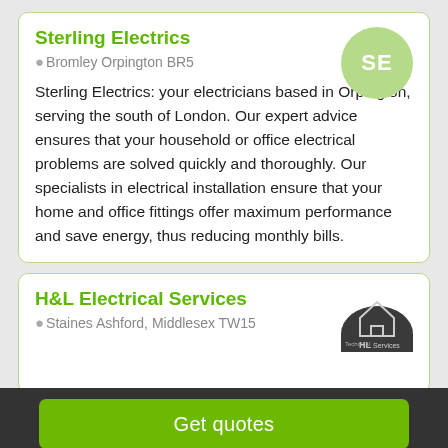Sterling Electrics
📍Bromley Orpington BR5
[Figure (illustration): Light green circle avatar with white letters SE]
Sterling Electrics: your electricians based in Orpington, serving the south of London. Our expert advice ensures that your household or office electrical problems are solved quickly and thoroughly. Our specialists in electrical installation ensure that your home and office fittings offer maximum performance and save energy, thus reducing monthly bills.
H&L Electrical Services
📍Staines Ashford, Middlesex TW15
[Figure (logo): H&L Electrical Services logo - dark semicircle with house outline and HL text]
Get quotes